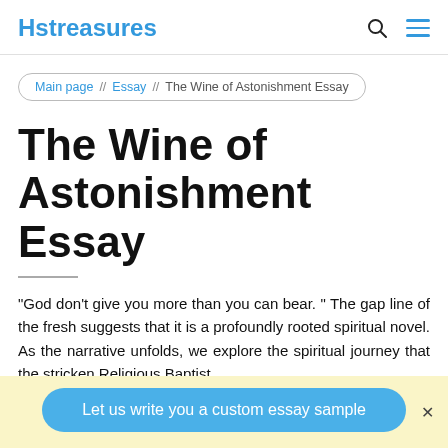Hstreasures
Main page // Essay // The Wine of Astonishment Essay
The Wine of Astonishment Essay
“God don’t give you more than you can bear. ” The gap line of the fresh suggests that it is a profoundly rooted spiritual novel. As the narrative unfolds, we explore the spiritual journey that the stricken Religious Baptist
Let us write you a custom essay sample